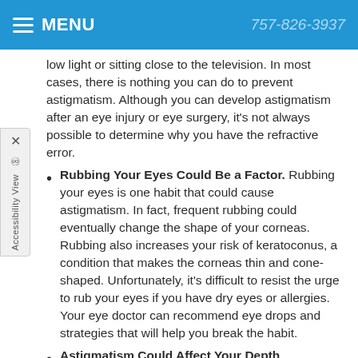MENU   757-826-3937
low light or sitting close to the television. In most cases, there is nothing you can do to prevent astigmatism. Although you can develop astigmatism after an eye injury or eye surgery, it's not always possible to determine why you have the refractive error.
Rubbing Your Eyes Could Be a Factor. Rubbing your eyes is one habit that could cause astigmatism. In fact, frequent rubbing could eventually change the shape of your corneas. Rubbing also increases your risk of keratoconus, a condition that makes the corneas thin and cone-shaped. Unfortunately, it's difficult to resist the urge to rub your eyes if you have dry eyes or allergies. Your eye doctor can recommend eye drops and strategies that will help you break the habit.
Astigmatism Could Affect Your Depth Perception. When your vision is blurry at any distance, you may notice problems with your depth perception. It may also be difficult to judge distances correctly. keep